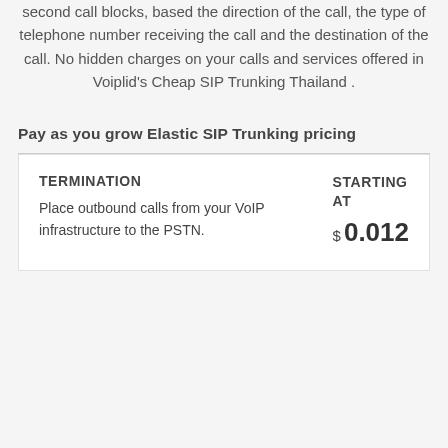second call blocks, based the direction of the call, the type of telephone number receiving the call and the destination of the call. No hidden charges on your calls and services offered in Voiplid's Cheap SIP Trunking Thailand .
Pay as you grow Elastic SIP Trunking pricing
| TERMINATION | STARTING AT |
| --- | --- |
| Place outbound calls from your VoIP infrastructure to the PSTN. | $ 0.012 |